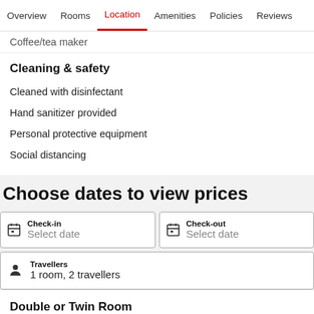Overview   Rooms   Location   Amenities   Policies   Reviews
Coffee/tea maker
Cleaning & safety
Cleaned with disinfectant
Hand sanitizer provided
Personal protective equipment
Social distancing
Choose dates to view prices
Check-in
Select date
Check-out
Select date
Travellers
1 room, 2 travellers
Double or Twin Room